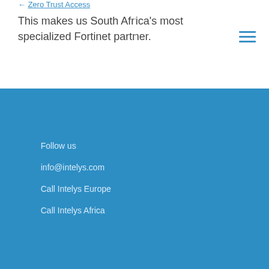Zero Trust Access
This makes us South Africa's most specialized Fortinet partner.
Follow us
info@intelys.com
Call Intelys Europe
Call Intelys Africa